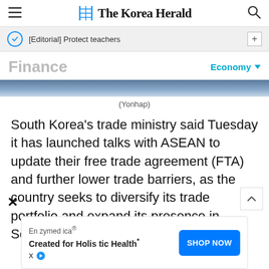The Korea Herald
[Editorial] Protect teachers
Finance
Economy
[Figure (photo): Partial photo strip, appears to be a news image]
(Yonhap)
South Korea's trade ministry said Tuesday it has launched talks with ASEAN to update their free trade agreement (FTA) and further lower trade barriers, as the country seeks to diversify its trade portfolio and expand its presence in Southeast Asia.
[Figure (other): Advertisement banner: Enzymedica - Created for Holistic Health* with SHOP NOW button]